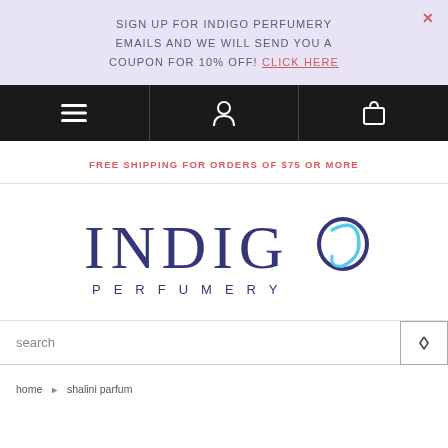SIGN UP FOR INDIGO PERFUMERY EMAILS AND WE WILL SEND YOU A COUPON FOR 10% OFF! CLICK HERE
[Figure (screenshot): Black navigation bar with hamburger menu icon, user/person icon, and shopping bag icon]
FREE SHIPPING FOR ORDERS OF $75 OR MORE
[Figure (logo): Indigo Perfumery logo with stylized dark blue letters INDIGO and a light blue swirl on the O, with PERFUMERY spelled out below in spaced capitals]
search
home › shalini parfum